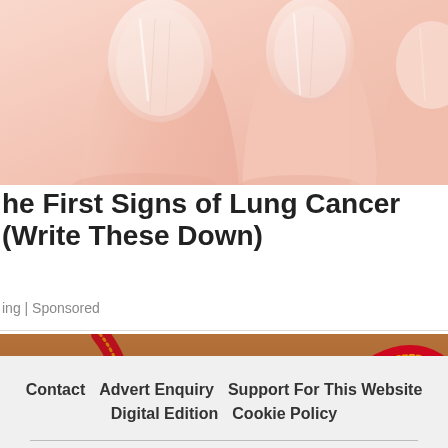[Figure (photo): Close-up photograph of human fingernails, pale pink skin tone, showing nail texture and shape against a white/light background.]
The First Signs of Lung Cancer (Write These Down)
ing | Sponsored
[Figure (photo): Photograph of festive red and gold ribbons curled on a wooden surface, with a small pine cone and a metallic object visible.]
Contact  Advert Enquiry  Support For This Website  Digital Edition  Cookie Policy